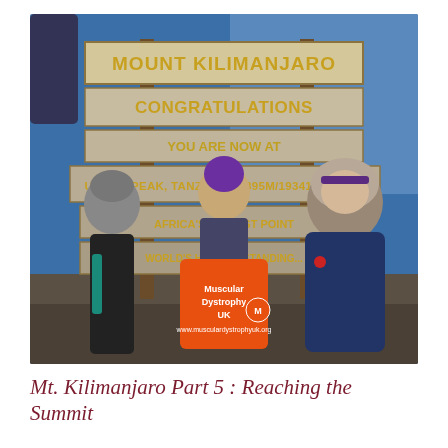[Figure (photo): Three women standing in front of the Mount Kilimanjaro summit sign (Uhuru Peak, Tanzania, 5895m/19341ft AMSL). The middle woman holds an orange Muscular Dystrophy UK t-shirt/bag. All three are dressed in cold-weather gear. Blue sky in background.]
Mt. Kilimanjaro Part 5 : Reaching the Summit
August 1, 2018